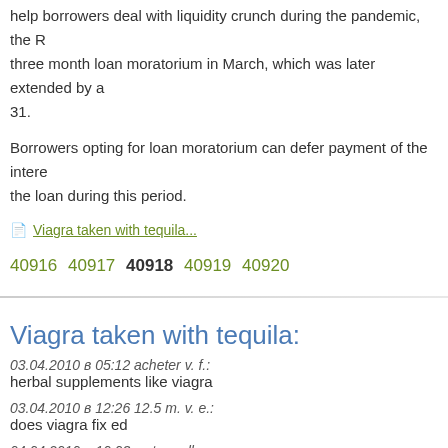help borrowers deal with liquidity crunch during the pandemic, the R... three month loan moratorium in March, which was later extended by a... 31.
Borrowers opting for loan moratorium can defer payment of the intere... the loan during this period.
Viagra taken with tequila...
40916 40917 40918 40919 40920
Viagra taken with tequila:
03.04.2010 в 05:12 acheter v. f.: herbal supplements like viagra
03.04.2010 в 12:26 12.5 m. v. e.: does viagra fix ed
04.04.2010 в 10:03 watermellon a. v.: viagra er
05.04.2010 в 17:09 20 m. a. v.: